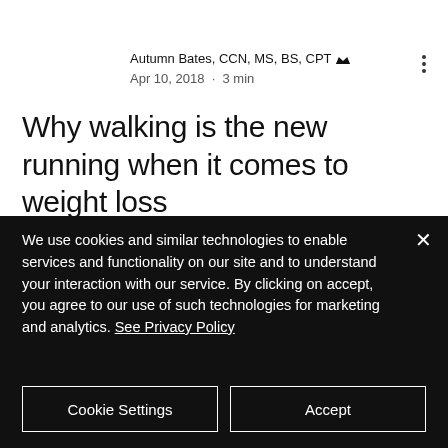Autumn Bates, CCN, MS, BS, CPT 👑
Apr 10, 2018 · 3 min
Why walking is the new running when it comes to weight loss
Updated: May 27, 2020
Affiliate Disc...
We use cookies and similar technologies to enable services and functionality on our site and to understand your interaction with our service. By clicking on accept, you agree to our use of such technologies for marketing and analytics. See Privacy Policy
Cookie Settings
Accept